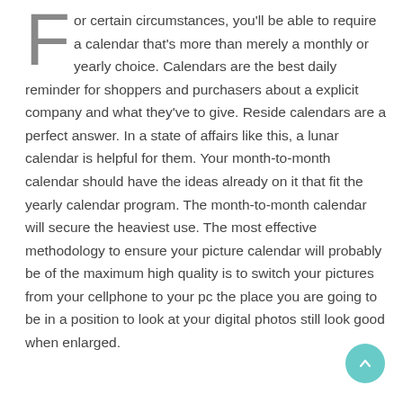For certain circumstances, you'll be able to require a calendar that's more than merely a monthly or yearly choice. Calendars are the best daily reminder for shoppers and purchasers about a explicit company and what they've to give. Reside calendars are a perfect answer. In a state of affairs like this, a lunar calendar is helpful for them. Your month-to-month calendar should have the ideas already on it that fit the yearly calendar program. The month-to-month calendar will secure the heaviest use. The most effective methodology to ensure your picture calendar will probably be of the maximum high quality is to switch your pictures from your cellphone to your pc the place you are going to be in a position to look at your digital photos still look good when enlarged.